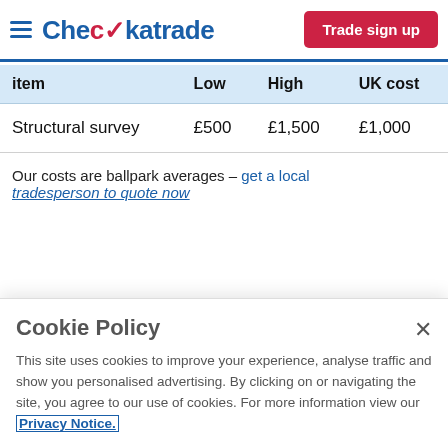Checkatrade — Trade sign up
| item | Low | High | UK Cost |
| --- | --- | --- | --- |
| Structural survey | £500 | £1,500 | £1,000 |
| Our costs are ballpark averages – get a local tradesperson to quote now |  |  |  |
Cookie Policy
This site uses cookies to improve your experience, analyse traffic and show you personalised advertising. By clicking on or navigating the site, you agree to our use of cookies. For more information view our Privacy Notice.
Accept All Cookies